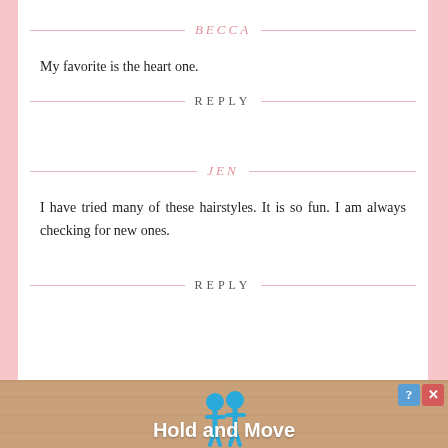BECCA
My favorite is the heart one.
REPLY
JEN
I have tried many of these hairstyles. It is so fun. I am always checking for new ones.
REPLY
[Figure (screenshot): Advertisement banner for 'Hold and Move' app with blue cartoon figures on a wooden background]